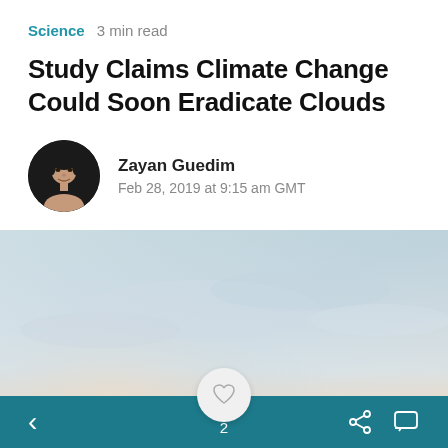Science  3 min read
Study Claims Climate Change Could Soon Eradicate Clouds
Zayan Guedim
Feb 28, 2019 at 9:15 am GMT
[Figure (photo): Sky photo with muted blue-gray and warm haze tones, representing clouds or sky]
< [back]  [heart/like: 2]  [share] [comment]